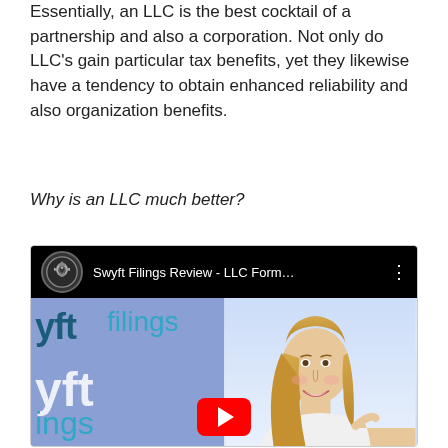Essentially, an LLC is the best cocktail of a partnership and also a corporation. Not only do LLC's gain particular tax benefits, yet they likewise have a tendency to obtain enhanced reliability and also organization benefits.
Why is an LLC much better?
[Figure (screenshot): YouTube video thumbnail for 'Swyft Filings Review - LLC Form...' showing the Swyft Filings brand logo/text on a purple-blue background on the left, and a smiling blonde woman on the right, with a red YouTube play button in the center.]